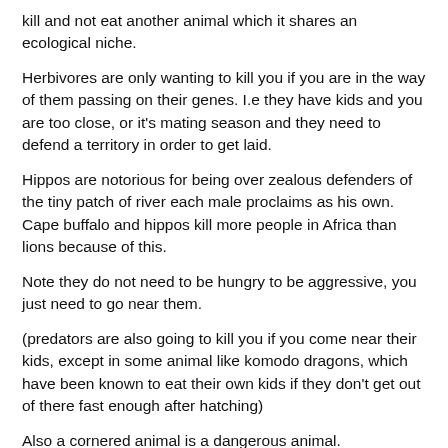kill and not eat another animal which it shares an ecological niche.
Herbivores are only wanting to kill you if you are in the way of them passing on their genes. I.e they have kids and you are too close, or it's mating season and they need to defend a territory in order to get laid.
Hippos are notorious for being over zealous defenders of the tiny patch of river each male proclaims as his own. Cape buffalo and hippos kill more people in Africa than lions because of this.
Note they do not need to be hungry to be aggressive, you just need to go near them.
(predators are also going to kill you if you come near their kids, except in some animal like komodo dragons, which have been known to eat their own kids if they don't get out of there fast enough after hatching)
Also a cornered animal is a dangerous animal.